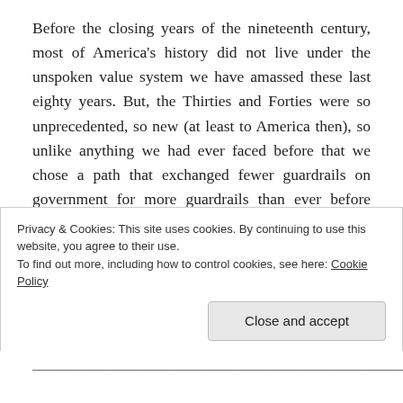Before the closing years of the nineteenth century, most of America's history did not live under the unspoken value system we have amassed these last eighty years. But, the Thirties and Forties were so unprecedented, so new (at least to America then), so unlike anything we had ever faced before that we chose a path that exchanged fewer guardrails on government for more guardrails than ever before upon ourselves. We have re-ratified that unwritten — yet constantly redrafting — constitution countless
Privacy & Cookies: This site uses cookies. By continuing to use this website, you agree to their use.
To find out more, including how to control cookies, see here: Cookie Policy
Close and accept